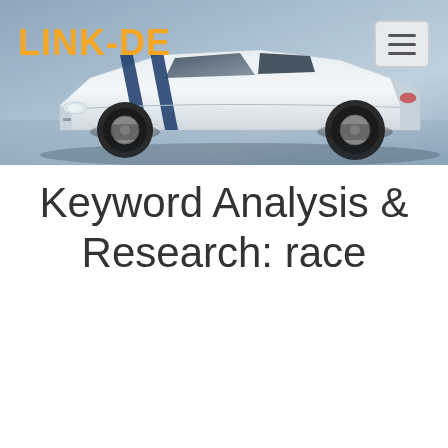[Figure (screenshot): Website header banner with a white sports car with blue racing stripes on a gray/blue background. Logo 'LINK-DE' in orange bold text top left. Hamburger menu button top right.]
Keyword Analysis & Research: race